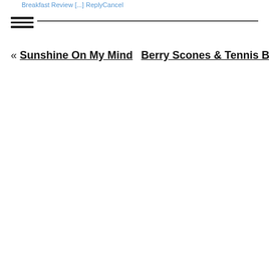Breakfast Review [...] ReplyCancel
« Sunshine On My Mind   Berry Scones & Tennis Balls »